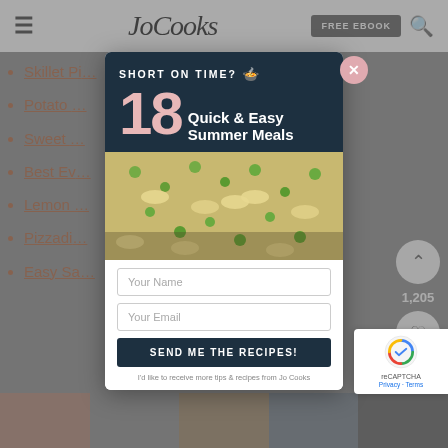Jo Cooks | FREE EBOOK
Skillet P…
Potato …
Sweet …
Best Ev…
Lemon …
Pizzadi…
Easy Sa…
[Figure (screenshot): Popup modal for Jo Cooks newsletter signup. Header reads 'SHORT ON TIME?' with a pot icon, followed by large '18' and 'Quick & Easy Summer Meals'. Below is an image of pasta with peas. Form fields for 'Your Name' and 'Your Email', a 'SEND ME THE RECIPES!' button, and fine print 'I'd like to receive more tips & recipes from Jo Cooks'.]
[Figure (other): reCAPTCHA badge with Privacy and Terms links]
[Figure (other): Bottom image strip with five color panels]